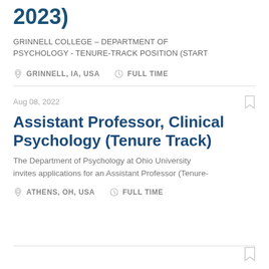2023)
GRINNELL COLLEGE – DEPARTMENT OF PSYCHOLOGY - TENURE-TRACK POSITION (START
GRINNELL, IA, USA   FULL TIME
Aug 08, 2022
Assistant Professor, Clinical Psychology (Tenure Track)
The Department of Psychology at Ohio University invites applications for an Assistant Professor (Tenure-
ATHENS, OH, USA   FULL TIME